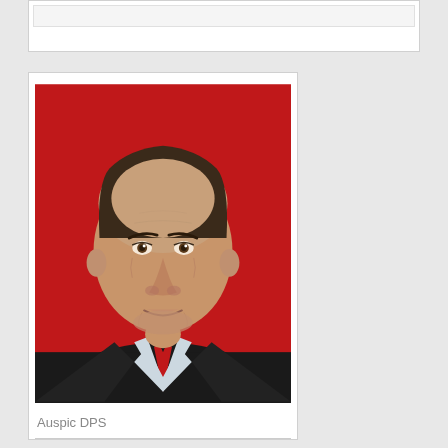[Figure (photo): Official portrait photograph of a middle-aged man with dark hair, wearing a dark suit with a red tie and light blue shirt, photographed against a red background. Credit: Auspic DPS.]
Auspic DPS